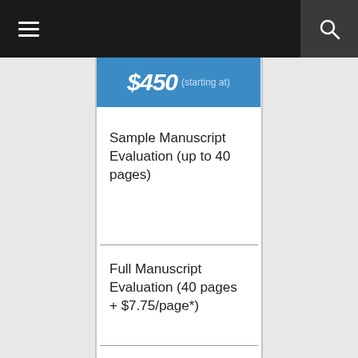Navigation bar with hamburger menu and search icon
$450 (starting at)
Sample Manuscript Evaluation (up to 40 pages)
Full Manuscript Evaluation (40 pages + $7.75/page*)
Full Developmental Feedback (30